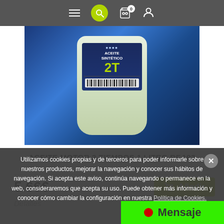Navigation bar with hamburger menu, search, cart (0), user icon
[Figure (photo): Product photo of ACEITE SINTETICO 2T motor oil, 1 litre container, blue background]
ACEITE MOTOR 2 TIEMPOS 1 LITRO RF.193
5.66€
Añadir
Detalles
Utilizamos cookies propias y de terceros para poder informarle sobre nuestros productos, mejorar la navegación y conocer sus hábitos de navegación. Si acepta este aviso, continúa navegando o permanece en la web, consideraremos que acepta su uso. Puede obtener más información y conocer cómo cambiar la configuración en nuestra Política de Cookies.
Mensaje